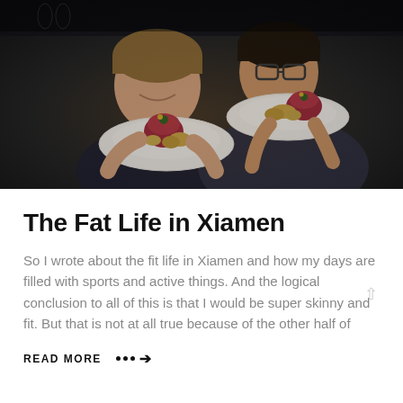[Figure (photo): Two women smiling and holding white plates with food (appears to be steak tartare with potatoes) in a dark restaurant setting.]
The Fat Life in Xiamen
So I wrote about the fit life in Xiamen and how my days are filled with sports and active things. And the logical conclusion to all of this is that I would be super skinny and fit. But that is not at all true because of the other half of
READ MORE ●●●➔